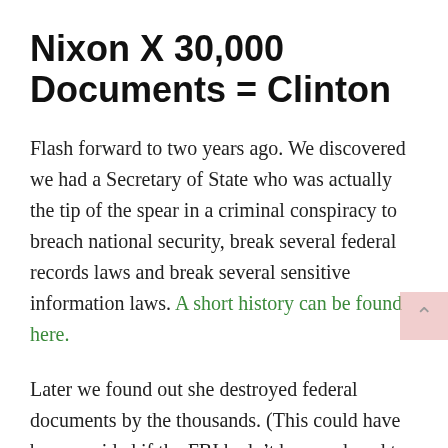Nixon X 30,000 Documents = Clinton
Flash forward to two years ago. We discovered we had a Secretary of State who was actually the tip of the spear in a criminal conspiracy to breach national security, break several federal records laws and break several sensitive information laws. A short history can be found here.
Later we found out she destroyed federal documents by the thousands. (This could have been avoided if the FBI hadn't been reduced to a pack of political goons and had followed protocol upon discovering the existence of an illegal server being used to transmit official State communications.) A reminder of